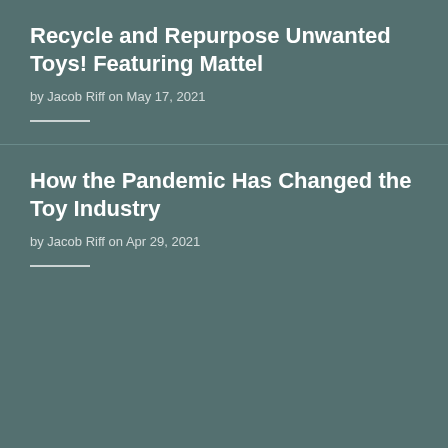Recycle and Repurpose Unwanted Toys! Featuring Mattel
by Jacob Riff on May 17, 2021
How the Pandemic Has Changed the Toy Industry
by Jacob Riff on Apr 29, 2021